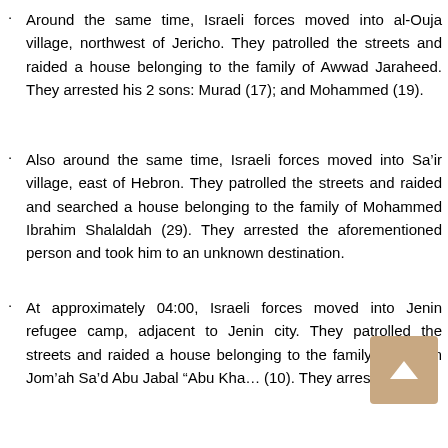Around the same time, Israeli forces moved into al-Ouja village, northwest of Jericho. They patrolled the streets and raided a house belonging to the family of Awwad Jaraheed. They arrested his 2 sons: Murad (17); and Mohammed (19).
Also around the same time, Israeli forces moved into Sa'ir village, east of Hebron. They patrolled the streets and raided and searched a house belonging to the family of Mohammed Ibrahim Shalaldah (29). They arrested the aforementioned person and took him to an unknown destination.
At approximately 04:00, Israeli forces moved into Jenin refugee camp, adjacent to Jenin city. They patrolled the streets and raided a house belonging to the family of Essam Jom'ah Sa'd Abu Jabal "Abu Kha... (10). They arrested